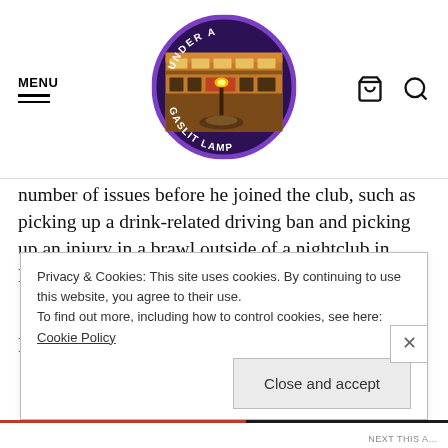MENU | Under a Gaslit Lamp logo | cart icon | search icon
number of issues before he joined the club, such as picking up a drink-related driving ban and picking up an injury in a brawl outside of a nightclub in Manchester.
It also comes as news of Dean Smith's Aston Villa
Privacy & Cookies: This site uses cookies. By continuing to use this website, you agree to their use.
To find out more, including how to control cookies, see here: Cookie Policy
Close and accept